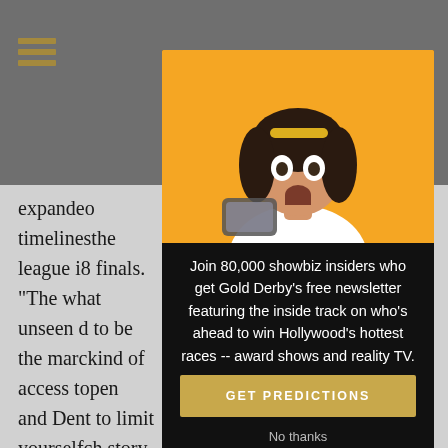Gold Derby - navigation header with hamburger menu
expanded timelines the league i 8 finals. "The wh at unseen d to be the marc kind of access t open and Den t to limit yourself ch story to be tol n three times fo way to tell the b y at the same ti
[Figure (photo): Surprised young woman with dark hair holding a phone, wearing sunglasses on forehead, orange/yellow background]
Join 80,000 showbiz insiders who get Gold Derby's free newsletter featuring the inside track on who's ahead to win Hollywood's hottest races -- award shows and reality TV.
GET PREDICTIONS
No thanks